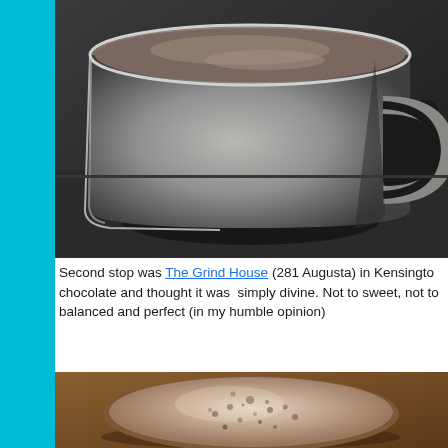[Figure (photo): Close-up photo of a white ceramic mug from above, containing a dark hot chocolate drink with frothy top, on a dark background]
Second stop was The Grind House (281 Augusta) in Kensington chocolate and thought it was  simply divine. Not to sweet, not to balanced and perfect (in my humble opinion)
[Figure (photo): Close-up photo of a hot chocolate drink in a cup with foamy top sprinkled with cocoa powder, on a warm brown surface]